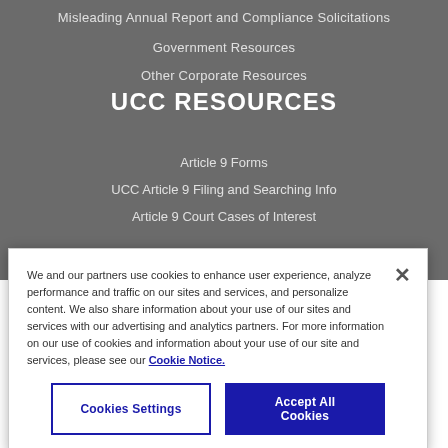Misleading Annual Report and Compliance Solicitations
Government Resources
Other Corporate Resources
UCC RESOURCES
Article 9 Forms
UCC Article 9 Filing and Searching Info
Article 9 Court Cases of Interest
We and our partners use cookies to enhance user experience, analyze performance and traffic on our sites and services, and personalize content. We also share information about your use of our sites and services with our advertising and analytics partners. For more information on our use of cookies and information about your use of our site and services, please see our Cookie Notice.